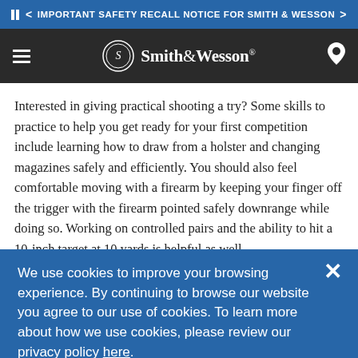< IMPORTANT SAFETY RECALL NOTICE FOR SMITH & WESSON >
[Figure (screenshot): Smith & Wesson website header with hamburger menu, logo with circular seal, and location pin icon on dark background]
Interested in giving practical shooting a try? Some skills to practice to help you get ready for your first competition include learning how to draw from a holster and changing magazines safely and efficiently. You should also feel comfortable moving with a firearm by keeping your finger off the trigger with the firearm pointed safely downrange while doing so. Working on controlled pairs and the ability to hit a 10-inch target at 10 yards is helpful as well.
We use cookies to improve your browsing experience. By continuing to browse our website you agree to our use of cookies. To learn more about how we use cookies, please review our privacy policy here.